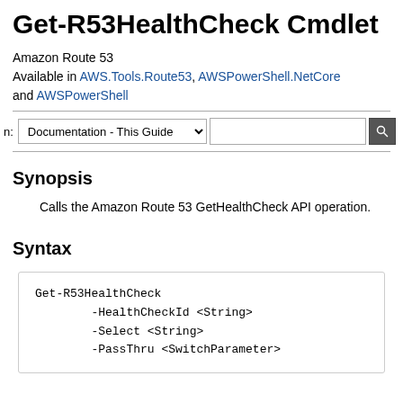Get-R53HealthCheck Cmdlet
Amazon Route 53
Available in AWS.Tools.Route53, AWSPowerShell.NetCore and AWSPowerShell
Synopsis
Calls the Amazon Route 53 GetHealthCheck API operation.
Syntax
Get-R53HealthCheck
        -HealthCheckId <String>
        -Select <String>
        -PassThru <SwitchParameter>